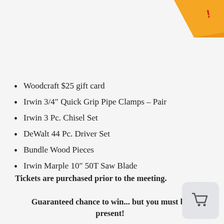[Figure (illustration): Orange ribbon/banner partially visible at top right corner of the page]
Woodcraft $25 gift card
Irwin 3/4″ Quick Grip Pipe Clamps – Pair
Irwin 3 Pc. Chisel Set
DeWalt 44 Pc. Driver Set
Bundle Wood Pieces
Irwin Marple 10″ 50T Saw Blade
Tickets are purchased prior to the meeting.
Guaranteed chance to win... but you must be present!
[Figure (illustration): Shopping cart icon in a light grey rounded rectangle, bottom right corner]